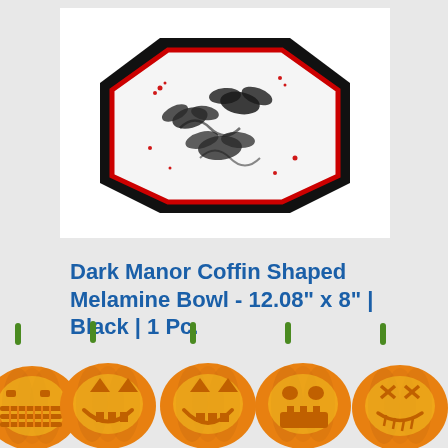[Figure (photo): A black coffin-shaped melamine bowl viewed from above at an angle, showing a white interior with black bat/swirl pattern and red splatter design.]
Dark Manor Coffin Shaped Melamine Bowl - 12.08" x 8" | Black | 1 Pc.
[Figure (illustration): A row of five glowing orange jack-o-lantern pumpkins with green stems and various carved face expressions, overlapping each other.]